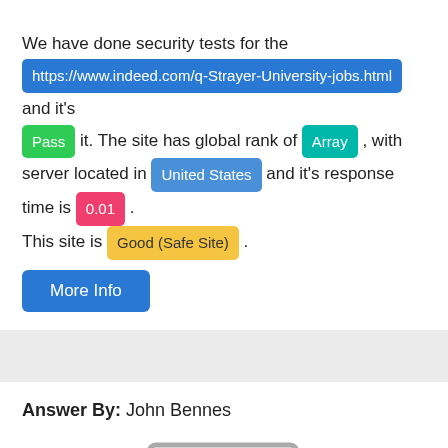We have done security tests for the https://www.indeed.com/q-Strayer-University-jobs.html and it's Pass it. The site has global rank of Array , with server located in United States and it's response time is 0.01 . This site is Good (Safe Site) .
More Info
Answer By: John Bennes
[Figure (illustration): Placeholder image icon showing a landscape with mountains and a circle (sun), in gray, with a duplicate frame behind it]